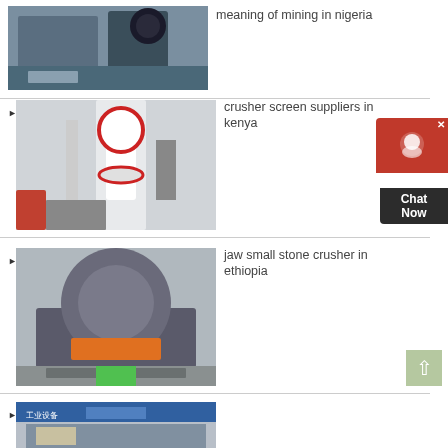[Figure (photo): Industrial mining/crushing machine in a factory setting]
meaning of mining in nigeria
[Figure (photo): Large vertical industrial mill/grinder machine]
crusher screen suppliers in kenya
[Figure (photo): Cone crusher machine in a factory]
jaw small stone crusher in ethiopia
[Figure (photo): Industrial machinery partial view]